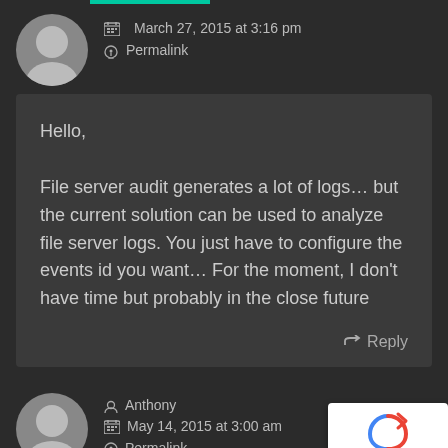March 27, 2015 at 3:16 pm
Permalink
Hello,

File server audit generates a lot of logs... but the current solution can be used to analyze file server logs. You just have to configure the events id you want... For the moment, I don't have time but probably in the close future
Reply
Anthony
May 14, 2015 at 3:00 am
Permalink
Privacy · Terms